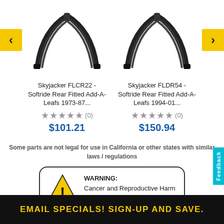[Figure (photo): Skyjacker FLCR22 leaf spring add-a-leaf product photo — black metal leaf spring parts against white background]
[Figure (photo): Skyjacker FLDR54 leaf spring add-a-leaf product photo — black metal leaf spring parts against white background]
Skyjacker FLCR22 - Softride Rear Fitted Add-A-Leafs 1973-87...
Skyjacker FLDR54 - Softride Rear Fitted Add-A-Leafs 1994-01...
★★★★★ (0)
$101.21
★★★★★ (0)
$150.94
Some parts are not legal for use in California or other states with similar laws / regulations
[Figure (infographic): Proposition 65 WARNING box with yellow triangle exclamation warning icon. Text reads: WARNING: Cancer and Reproductive Harm – www.P65Warnings.ca.gov]
EMAIL SPECIALS! SIGN-UP AND SAVE.